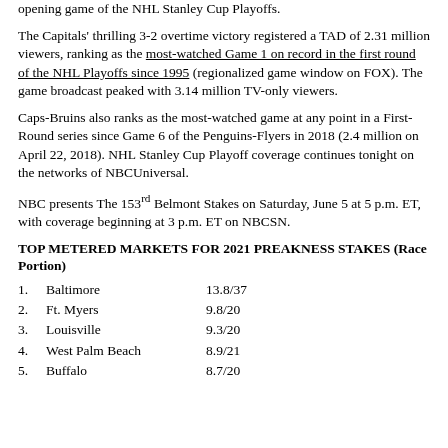opening game of the NHL Stanley Cup Playoffs.
The Capitals' thrilling 3-2 overtime victory registered a TAD of 2.31 million viewers, ranking as the most-watched Game 1 on record in the first round of the NHL Playoffs since 1995 (regionalized game window on FOX). The game broadcast peaked with 3.14 million TV-only viewers.
Caps-Bruins also ranks as the most-watched game at any point in a First-Round series since Game 6 of the Penguins-Flyers in 2018 (2.4 million on April 22, 2018). NHL Stanley Cup Playoff coverage continues tonight on the networks of NBCUniversal.
NBC presents The 153rd Belmont Stakes on Saturday, June 5 at 5 p.m. ET, with coverage beginning at 3 p.m. ET on NBCSN.
TOP METERED MARKETS FOR 2021 PREAKNESS STAKES (Race Portion)
1. Baltimore 13.8/37
2. Ft. Myers 9.8/20
3. Louisville 9.3/20
4. West Palm Beach 8.9/21
5. Buffalo 8.7/20